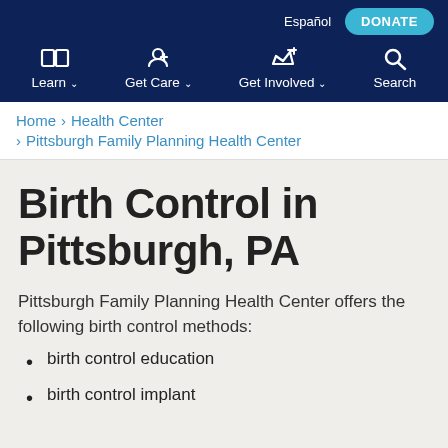Español  DONATE
Learn  Get Care  Get Involved  Search
Home › Health Center › Pittsburgh Family Planning Health Center
Birth Control in Pittsburgh, PA
Pittsburgh Family Planning Health Center offers the following birth control methods:
birth control education
birth control implant